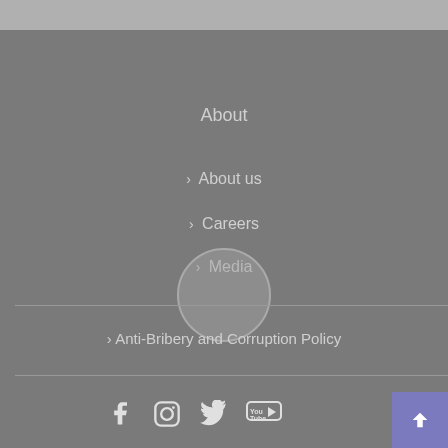About
> About us
> Careers
> Media
> Anti-Bribery and Corruption Policy
[Figure (other): Social media icons row: Facebook, Instagram, Twitter, YouTube; plus a back-to-top arrow button in purple]